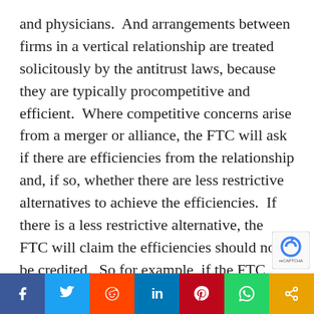and physicians.  And arrangements between firms in a vertical relationship are treated solicitously by the antitrust laws, because they are typically procompetitive and efficient.  Where competitive concerns arise from a merger or alliance, the FTC will ask if there are efficiencies from the relationship and, if so, whether there are less restrictive alternatives to achieve the efficiencies.  If there is a less restrictive alternative, the FTC will claim the efficiencies should not be credited.  So for example, if the FTC believes that contractual arrangements between doctors and hospitals can achieve comparable efficiencies, the FTC will reject the merging parties' claimed efficiencies.

Front and center in this debate is the challenge to a
[Figure (other): Social media share bar at bottom: Facebook (blue), Twitter (light blue), Reddit (orange-red), LinkedIn (blue), Pinterest (red), WhatsApp (green), Share/more (orange)]